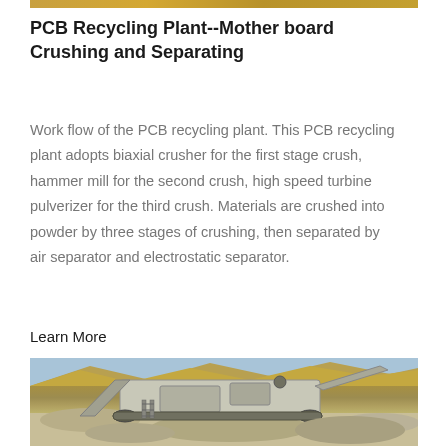[Figure (photo): Top decorative image strip showing golden/amber colored industrial imagery]
PCB Recycling Plant--Mother board Crushing and Separating
Work flow of the PCB recycling plant. This PCB recycling plant adopts biaxial crusher for the first stage crush, hammer mill for the second crush, high speed turbine pulverizer for the third crush. Materials are crushed into powder by three stages of crushing, then separated by air separator and electrostatic separator.
Learn More
[Figure (photo): A large industrial crushing machine (mobile crusher/screener) operating outdoors with rocky mountains in the background and crushed gravel/aggregate material on the ground.]